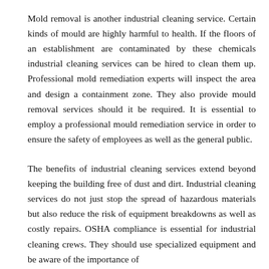Mold removal is another industrial cleaning service. Certain kinds of mould are highly harmful to health. If the floors of an establishment are contaminated by these chemicals industrial cleaning services can be hired to clean them up. Professional mold remediation experts will inspect the area and design a containment zone. They also provide mould removal services should it be required. It is essential to employ a professional mould remediation service in order to ensure the safety of employees as well as the general public.
The benefits of industrial cleaning services extend beyond keeping the building free of dust and dirt. Industrial cleaning services do not just stop the spread of hazardous materials but also reduce the risk of equipment breakdowns as well as costly repairs. OSHA compliance is essential for industrial cleaning crews. They should use specialized equipment and be aware of the importance of